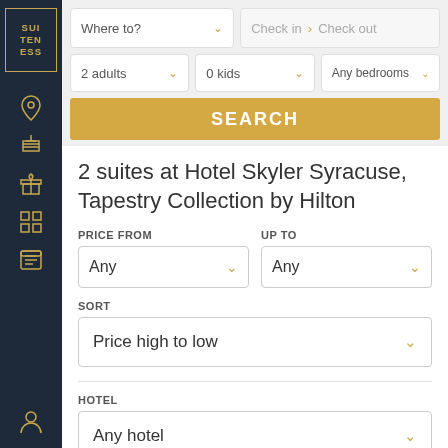[Figure (screenshot): Suiteness logo in sidebar — gold border box with SUI/TEN/ESS text]
Where to?
Check in > Check out
2 adults
0 kids
Any bedrooms
SEARCH
2 suites at Hotel Skyler Syracuse, Tapestry Collection by Hilton
PRICE FROM
Any
UP TO
Any
SORT
Price high to low
HOTEL
Any hotel